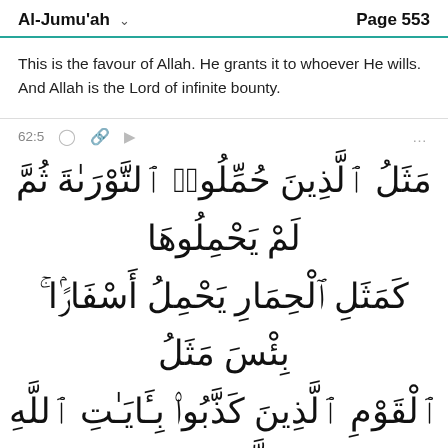Al-Jumu'ah   Page 553
This is the favour of Allah. He grants it to whoever He wills. And Allah is the Lord of infinite bounty.
62:5
[Figure (other): Arabic Quranic text for verse 62:5 of Surah Al-Jumu'ah, written in large Arabic script with diacritics]